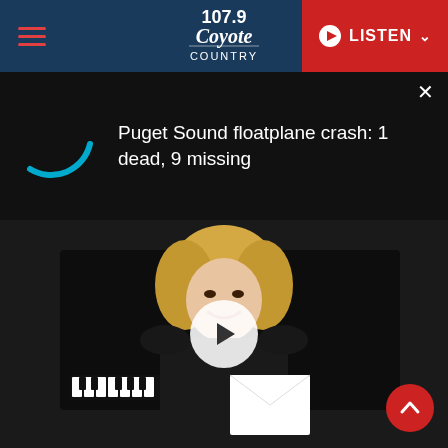107.9 Coyote Country — LISTEN
Puget Sound floatplane crash: 1 dead, 9 missing
[Figure (photo): Video thumbnail of a blonde woman in a black outfit standing in front of a piano, smiling and holding a white card/envelope. A white play button triangle is overlaid in the center.]